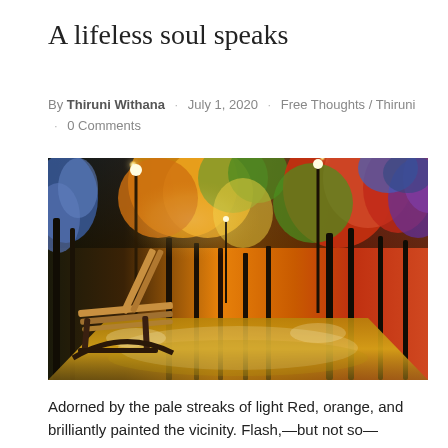A lifeless soul speaks
By Thiruni Withana · July 1, 2020 · Free Thoughts / Thiruni · 0 Comments
[Figure (illustration): A colorful impressionist oil painting of a park scene at night with glowing street lamps, vivid orange, red, green and blue autumn trees, a wet reflective path, and a wooden bench in the foreground.]
Adorned by the pale streaks of light Red, orange, and brilliantly painted the vicinity. Flash,—but not so—